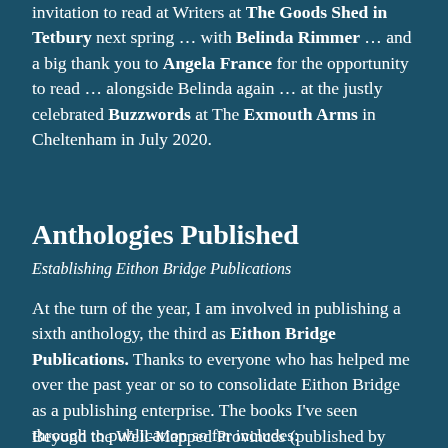invitation to read at Writers at The Goods Shed in Tetbury next spring … with Belinda Rimmer … and a big thank you to Angela France for the opportunity to read … alongside Belinda again … at the justly celebrated Buzzwords at The Exmouth Arms in Cheltenham in July 2020.
Anthologies Published
Establishing Eithon Bridge Publications
At the turn of the year, I am involved in publishing a sixth anthology, the third as Eithon Bridge Publications. Thanks to everyone who has helped me over the past year or so to consolidate Eithon Bridge as a publishing enterprise.  The books I've seen through to publication so far includes:
Beyond the Well-Mapped Provinces (published by